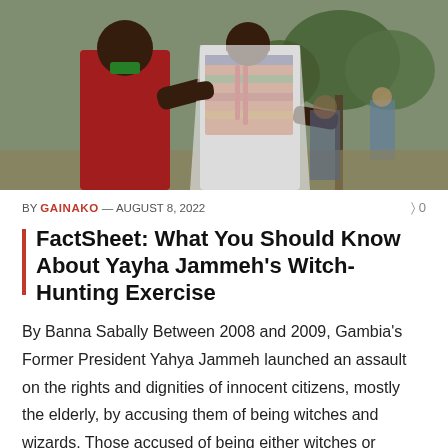[Figure (photo): Two men in traditional African attire in an outdoor setting. One man wears red fabric, the other wears a white robe and colorful embroidered garment with a red cap. Other people visible in the background near trees.]
BY GAINAKO — AUGUST 8, 2022
FactSheet: What You Should Know About Yayha Jammeh's Witch-Hunting Exercise
By Banna Sabally Between 2008 and 2009, Gambia's Former President Yahya Jammeh launched an assault on the rights and dignities of innocent citizens, mostly the elderly, by accusing them of being witches and wizards. Those accused of being either witches or wizards were forced to drink a poisonous herbal